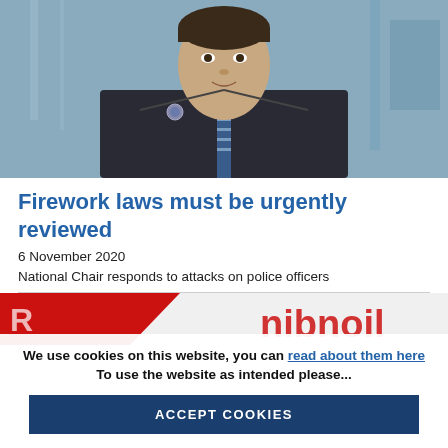[Figure (photo): A man wearing a dark suit, white shirt, and striped tie with an emblem/badge on the lapel. He is photographed outdoors against a glass and metal background.]
Firework laws must be urgently reviewed
6 November 2020
National Chair responds to attacks on police officers
[Figure (photo): Partial view of a red and white banner/logo — appears to be a police federation or related organisation logo, partially obscured by cookie consent overlay.]
We use cookies on this website, you can read about them here To use the website as intended please...
ACCEPT COOKIES